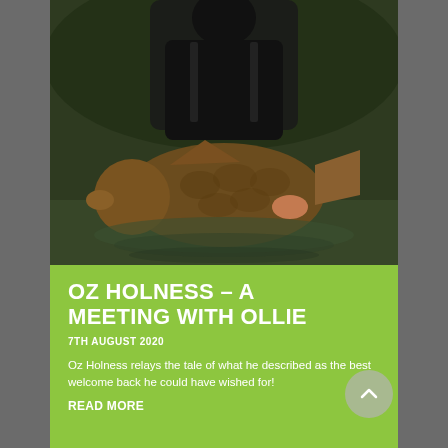[Figure (photo): A fisherman kneeling at the water's edge holding a very large carp fish, dark outdoor setting near a pond or lake.]
OZ HOLNESS – A MEETING WITH OLLIE
7TH AUGUST 2020
Oz Holness relays the tale of what he described as the best welcome back he could have wished for!
READ MORE